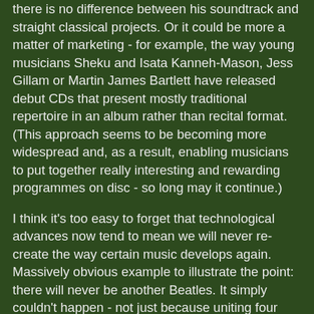there is no difference between his soundtrack and straight classical projects. Or it could be more a matter of marketing - for example, the way young musicians Sheku and Isata Kanneh-Mason, Jess Gillam or Martin James Bartlett have released debut CDs that present mostly traditional repertoire in an album rather than recital format. (This approach seems to be becoming more widespread and, as a result, enabling musicians to put together really interesting and rewarding programmes on disc - so long may it continue.)
I think it's too easy to forget that technological advances now tend to mean we will never re-create the way certain music develops again. Massively obvious example to illustrate the point: there will never be another Beatles. It simply couldn't happen - not just because uniting four particular blokes who were so much more than the sum of their parts in such specific ways would be so improbable - but because people consume, access and buy (or not) music so differently, the conditions for their mega-stardom are irreversibly historical.
In the same way, the elevated, preserved-in-aspic way we sometimes view classical music will no longer do. For